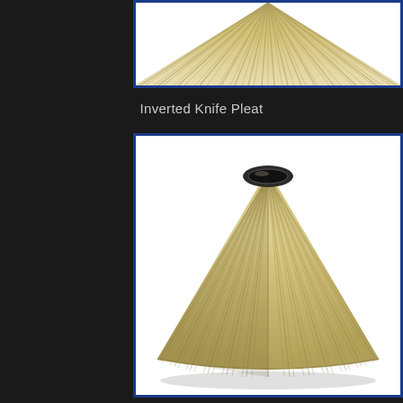[Figure (photo): Top portion of a pleated lampshade with knife pleat style, cream/beige colored, shown cropped at the top of the page inside a blue-bordered white frame]
Inverted Knife Pleat
[Figure (photo): Full conical pleated lampshade with inverted knife pleat style, beige/tan colored fabric, shown against white background inside a blue-bordered frame. The shade is wide at the bottom and narrow at the top with a visible opening.]